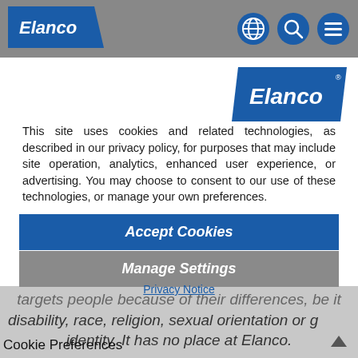[Figure (logo): Elanco logo in navigation bar (white text on blue parallelogram)]
[Figure (infographic): Navigation icons: globe, search, menu hamburger on grey bar]
[Figure (logo): Elanco logo (large, blue parallelogram with white italic text) in main content area top right]
This site uses cookies and related technologies, as described in our privacy policy, for purposes that may include site operation, analytics, enhanced user experience, or advertising. You may choose to consent to our use of these technologies, or manage your own preferences.
Accept Cookies
Manage Settings
Privacy Notice
targets people because of their differences, be it disability, race, religion, sexual orientation or g identity.  It has no place at Elanco.
Cookie Preferences